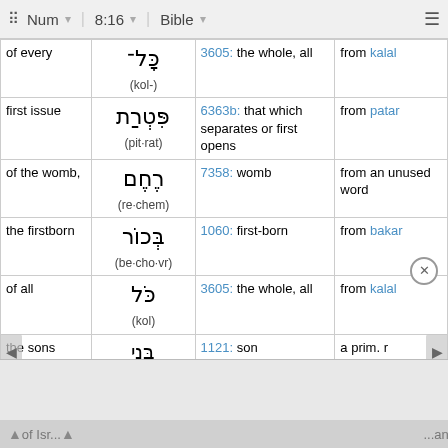Num  8:16  Bible
| English | Hebrew | Strong's | Root |
| --- | --- | --- | --- |
| of every | כָּל־ (kol-) | 3605: the whole, all | from kalal |
| first issue | פִּטְרַת (pit·rat) | 6363b: that which separates or first opens | from patar |
| of the womb, | רֶחֶם (re·chem) | 7358: womb | from an unused word |
| the firstborn | בְּכוֹר (be·cho·vr) | 1060: first-born | from bakar |
| of all | כֹּל (kol) | 3605: the whole, all | from kalal |
| the sons | בְּנֵי | 1121: son | a prim. r |